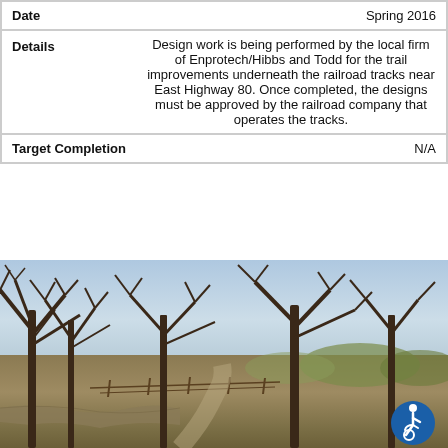| Field | Value |
| --- | --- |
| Date | Spring 2016 |
| Details | Design work is being performed by the local firm of Enprotech/Hibbs and Todd for the trail improvements underneath the railroad tracks near East Highway 80. Once completed, the designs must be approved by the railroad company that operates the tracks. |
| Target Completion | N/A |
[Figure (photo): Outdoor park/trail scene with bare winter trees lining a path/creek, open grassy areas, and a fence visible in the background. An accessibility icon appears in the bottom right corner.]